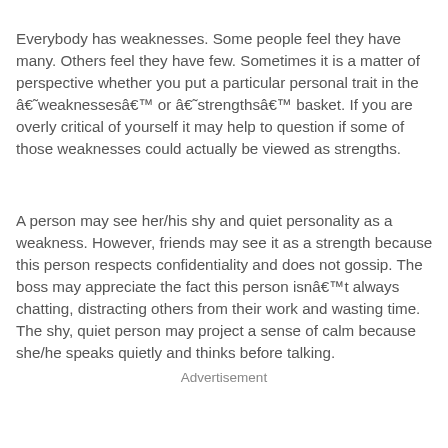Everybody has weaknesses. Some people feel they have many. Others feel they have few. Sometimes it is a matter of perspective whether you put a particular personal trait in the â€˜weaknessesâ€™ or â€˜strengthsâ€™ basket. If you are overly critical of yourself it may help to question if some of those weaknesses could actually be viewed as strengths.
A person may see her/his shy and quiet personality as a weakness. However, friends may see it as a strength because this person respects confidentiality and does not gossip. The boss may appreciate the fact this person isnâ€™t always chatting, distracting others from their work and wasting time. The shy, quiet person may project a sense of calm because she/he speaks quietly and thinks before talking.
Advertisement